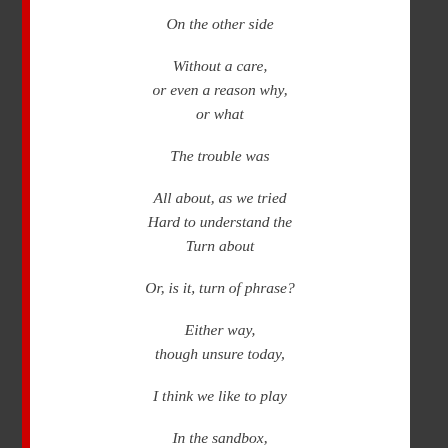On the other side

Without a care,
or even a reason why,
or what

The trouble was

All about, as we tried
Hard to understand the
Turn about

Or, is it, turn of phrase?

Either way,
though unsure today,

I think we like to play

In the sandbox,
Like when we were little,
And all the pleasure